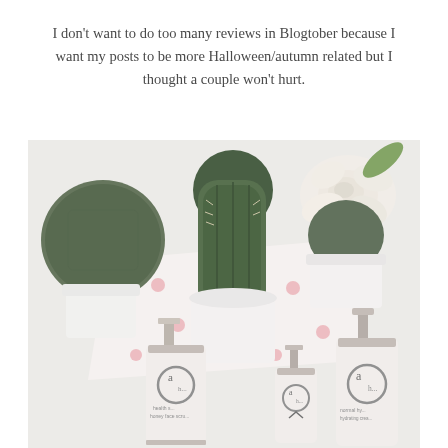I don't want to do too many reviews in Blogtober because I want my posts to be more Halloween/autumn related but I thought a couple won't hurt.
[Figure (photo): Flatlay photo showing three 'ah...' branded skincare products (honey face scrub, serum/oil, and normal hydrating cream) arranged on a fluffy white surface alongside three white pot cacti and a white rose, with a pink polka dot cloth visible underneath.]